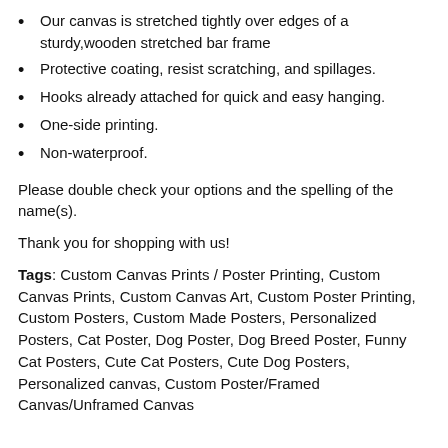Our canvas is stretched tightly over edges of a sturdy,wooden stretched bar frame
Protective coating, resist scratching, and spillages.
Hooks already attached for quick and easy hanging.
One-side printing.
Non-waterproof.
Please double check your options and the spelling of the name(s).
Thank you for shopping with us!
Tags: Custom Canvas Prints / Poster Printing, Custom Canvas Prints, Custom Canvas Art, Custom Poster Printing, Custom Posters, Custom Made Posters, Personalized Posters, Cat Poster, Dog Poster, Dog Breed Poster, Funny Cat Posters, Cute Cat Posters, Cute Dog Posters, Personalized canvas, Custom Poster/Framed Canvas/Unframed Canvas